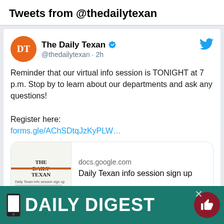Tweets from @thedailytexan
[Figure (screenshot): Twitter/X tweet card from The Daily Texan (@thedailytexan, 2h ago). Tweet text: 'Reminder that our virtual info session is TONIGHT at 7 p.m. Stop by to learn about our departments and ask any questions! Register here: forms.gle/AChSDtqJzKyPLW...' with a link preview card showing docs.google.com / Daily Texan info session sign up. Shows 2 likes.]
[Figure (screenshot): Partial second tweet card from The Daily Texan, partially obscured by the Daily Digest banner overlay.]
[Figure (infographic): Daily Digest promotional banner in teal/green with phone icon, bold white text 'DAILY DIGEST', close button X, and dark red thumbs-up circle button on the right.]